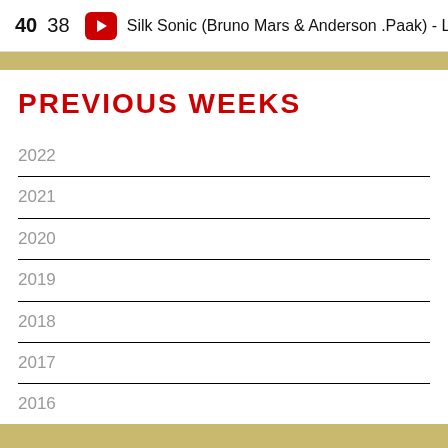40   38   ▶   Silk Sonic (Bruno Mars & Anderson .Paak) - Leave
PREVIOUS WEEKS
2022
2021
2020
2019
2018
2017
2016
2015
2014